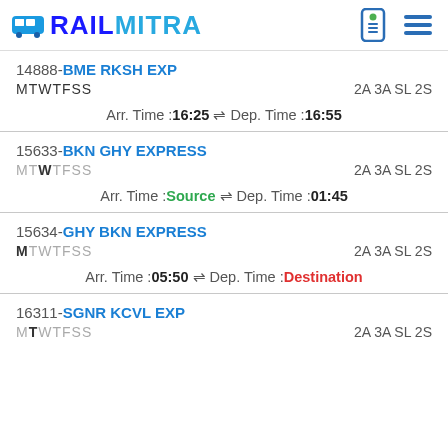RAILMITRA
14888-BME RKSH EXP | MTWTFSS | 2A 3A SL 2S | Arr. Time: 16:25 Dep. Time: 16:55
15633-BKN GHY EXPRESS | MTWTFSS (W active) | 2A 3A SL 2S | Arr. Time: Source Dep. Time: 01:45
15634-GHY BKN EXPRESS | MTWTFSS (M active) | 2A 3A SL 2S | Arr. Time: 05:50 Dep. Time: Destination
16311-SGNR KCVL EXP | MTWTFSS (T active) | 2A 3A SL 2S